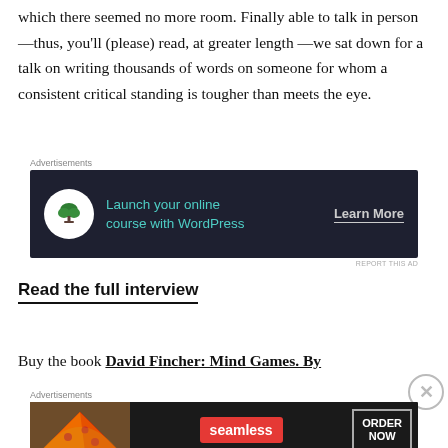which there seemed no more room. Finally able to talk in person—thus, you'll (please) read, at greater length—we sat down for a talk on writing thousands of words on someone for whom a consistent critical standing is tougher than meets the eye.
[Figure (other): Advertisement banner: dark navy background with tree/bonsai logo icon, text 'Launch your online course with WordPress' in teal, and 'Learn More' button with underline]
Read the full interview
Buy the book David Fincher: Mind Games. By
[Figure (other): Advertisement banner: dark background with pizza image on left, Seamless red badge in center, ORDER NOW button with border on right]